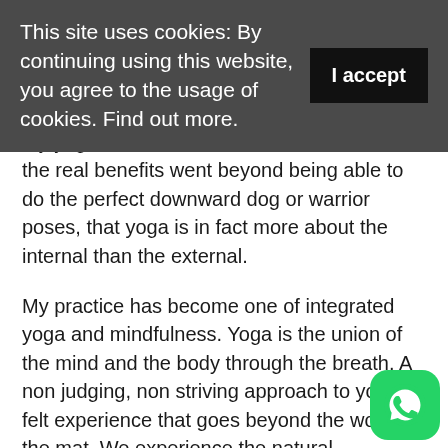This site uses cookies: By continuing using this website, you agree to the usage of cookies. Find out more.
My yoga evolved and so did I. I learned that the real benefits went beyond being able to do the perfect downward dog or warrior poses, that yoga is in fact more about the internal than the external.
My practice has become one of integrated yoga and mindfulness. Yoga is the union of the mind and the body through the breath. A non judging, non striving approach to yoga; a felt experience that goes beyond the work on the mat. We experience the natural energetics of the body and at the same time still the fluctuations of the mind.
The classes I give vary from dynamic ashtanga based sequences to slow flow movement. All classes embody